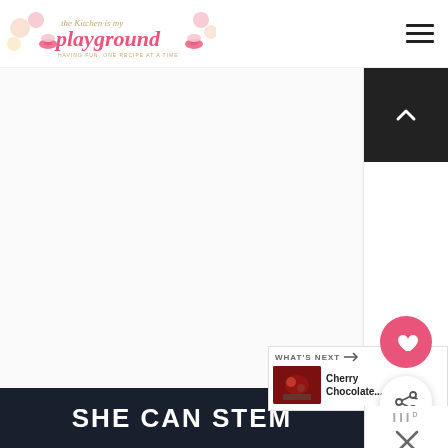the Kitchen is my playground — HAVING FUN, ONE RECIPE AT A TIME
[Figure (screenshot): Website screenshot showing blog header logo 'the Kitchen is my playground' with cupcake decorations and pink text, hamburger menu icon, back-to-top button, blank main content area, heart and share floating action buttons, 'WHAT'S NEXT' panel showing Cherry Chocolate... article, metric/close widget, and 'SHE CAN STEM' dark banner at bottom.]